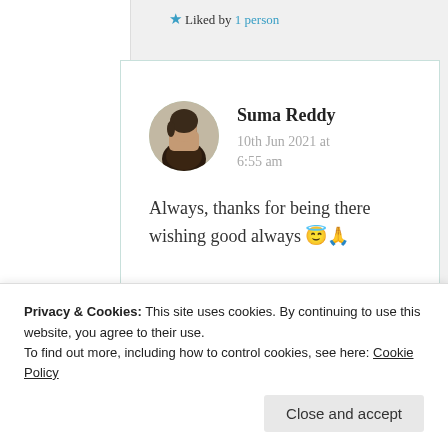★ Liked by 1 person
Suma Reddy
10th Jun 2021 at 6:55 am
Always, thanks for being there wishing good always 😇🙏
Privacy & Cookies: This site uses cookies. By continuing to use this website, you agree to their use.
To find out more, including how to control cookies, see here: Cookie Policy
Close and accept